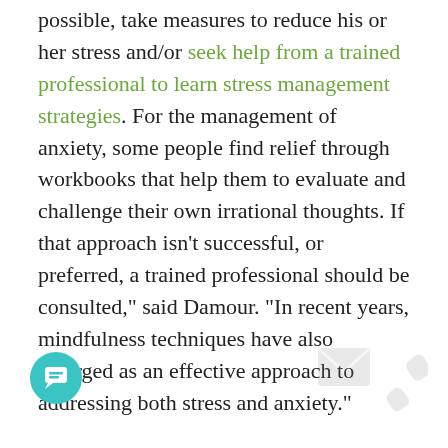possible, take measures to reduce his or her stress and/or seek help from a trained professional to learn stress management strategies. For the management of anxiety, some people find relief through workbooks that help them to evaluate and challenge their own irrational thoughts. If that approach isn't successful, or preferred, a trained professional should be consulted," said Damour. "In recent years, mindfulness techniques have also emerged as an effective approach to addressing both stress and anxiety."
Damour also urged psychologists to take an active role in providing counter-messaging to what she called "the happiness industry," or those wellness companies that are selling the idea that people